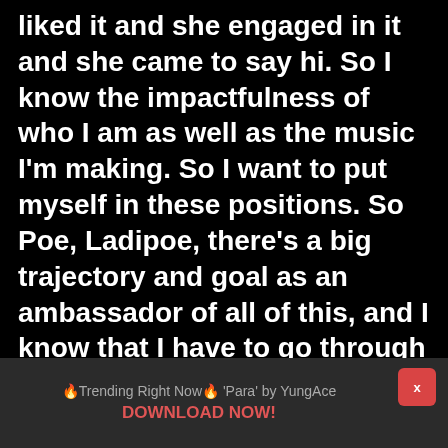liked it and she engaged in it and she came to say hi. So I know the impactfulness of who I am as well as the music I'm making. So I want to put myself in these positions. So Poe, Ladipoe, there's a big trajectory and goal as an ambassador of all of this, and I know that I have to go through all the stages. And you know what is interesting Joey is that I'm grateful for number one on Apple Music even though that's one platform.  For what I
🔥Trending Right Now🔥 'Para' by YungAce
DOWNLOAD NOW!